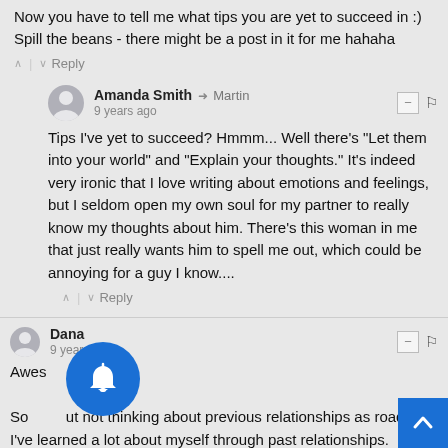Now you have to tell me what tips you are yet to succeed in :) Spill the beans - there might be a post in it for me hahaha
^ | v Reply
Amanda Smith → Martin
9 years ago
Tips I've yet to succeed? Hmmm... Well there's "Let them into your world" and "Explain your thoughts." It's indeed very ironic that I love writing about emotions and feelings, but I seldom open my own soul for my partner to really know my thoughts about him. There's this woman in me that just really wants him to spell me out, which could be annoying for a guy I know....
^ | v Reply
Dana
9 years ago
Awesome post!

So but not thinking about previous relationships as roadkill. I've learned a lot about myself through past relationships.